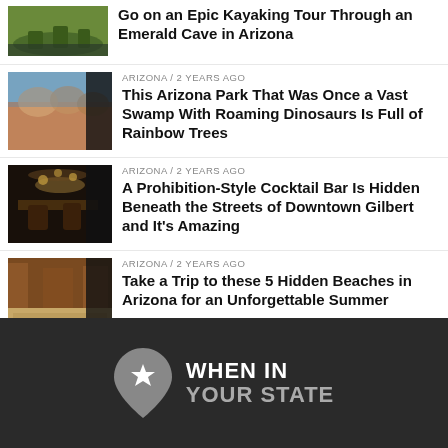Go on an Epic Kayaking Tour Through an Emerald Cave in Arizona
ARIZONA / 2 years ago
This Arizona Park That Was Once a Vast Swamp With Roaming Dinosaurs Is Full of Rainbow Trees
ARIZONA / 2 years ago
A Prohibition-Style Cocktail Bar Is Hidden Beneath the Streets of Downtown Gilbert and It’s Amazing
ARIZONA / 2 years ago
Take a Trip to these 5 Hidden Beaches in Arizona for an Unforgettable Summer
WHEN IN YOUR STATE